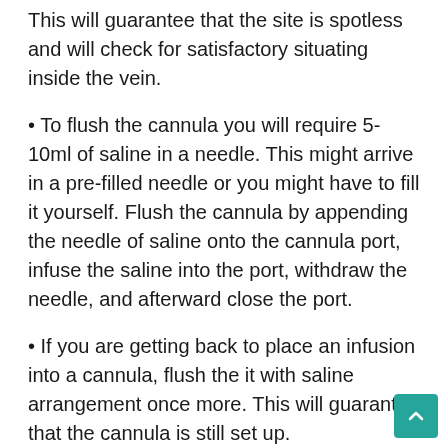This will guarantee that the site is spotless and will check for satisfactory situating inside the vein.
To flush the cannula you will require 5-10ml of saline in a needle. This might arrive in a pre-filled needle or you might have to fill it yourself. Flush the cannula by appending the needle of saline onto the cannula port, infuse the saline into the port, withdraw the needle, and afterward close the port.
If you are getting back to place an infusion into a cannula, flush the it with saline arrangement once more. This will guarantee that the cannula is still set up.
Recatheterize, if vital. On the off chance that you don't notice blood in the flashback chamber when you review